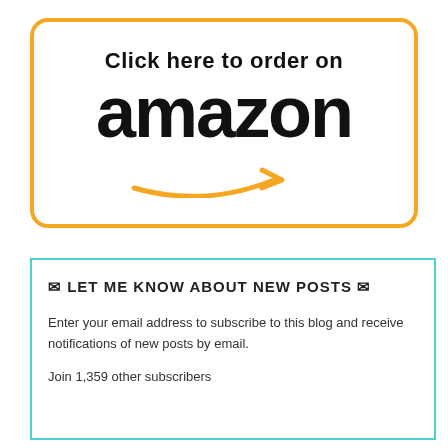[Figure (logo): Amazon order button with orange border, text 'Click here to order on amazon' with Amazon smile arrow logo in orange]
✉ LET ME KNOW ABOUT NEW POSTS ✉
Enter your email address to subscribe to this blog and receive notifications of new posts by email.
Join 1,359 other subscribers